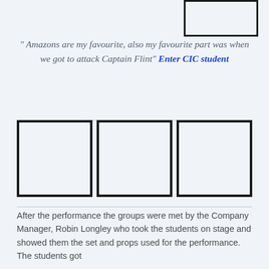[Figure (photo): Placeholder image box in top right corner]
" Amazons are my favourite, also my favourite part was when we got to attack Captain Flint" Enter CIC student
[Figure (photo): Three placeholder photo boxes in a row]
After the performance the groups were met by the Company Manager, Robin Longley who took the students on stage and showed them the set and props used for the performance. The students got